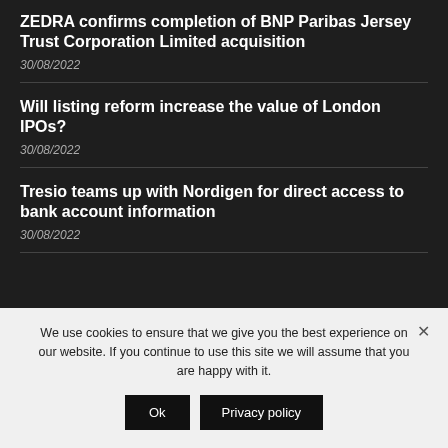ZEDRA confirms completion of BNP Paribas Jersey Trust Corporation Limited acquisition
30/08/2022
Will listing reform increase the value of London IPOs?
30/08/2022
Tresio teams up with Nordigen for direct access to bank account information
30/08/2022
We use cookies to ensure that we give you the best experience on our website. If you continue to use this site we will assume that you are happy with it.